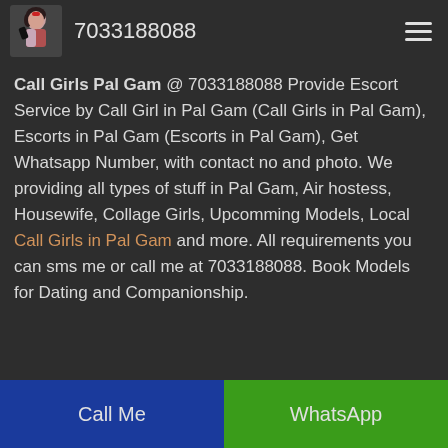7033188088
Call Girls Pal Gam @ 7033188088 Provide Escort Service by Call Girl in Pal Gam (Call Girls in Pal Gam), Escorts in Pal Gam (Escorts in Pal Gam), Get Whatsapp Number, with contact no and photo. We providing all types of stuff in Pal Gam, Air hostess, Housewife, Collage Girls, Upcomming Models, Local Call Girls in Pal Gam and more. All requirements you can sms me or call me at 7033188088. Book Models for Dating and Companionship.
Call Me | WhatsApp